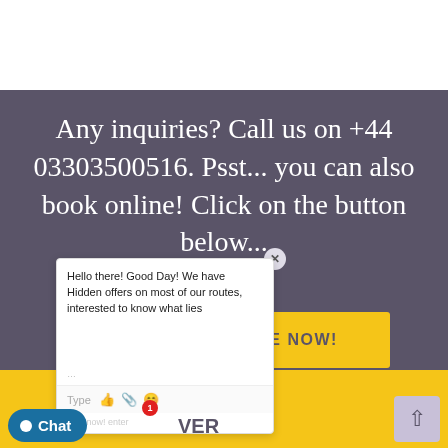Any inquiries? Call us on +44 03303500516. Psst... you can also book online! Click on the button below...
[Figure (screenshot): Yellow button labeled BOOK ONLINE NOW!]
[Figure (screenshot): Chat popup with text: Hello there! Good Day! We have Hidden offers on most of our routes, interested to know what lies... with Type input and emoji icons at bottom]
VER
[Figure (screenshot): Chat widget button at bottom left with notification badge showing 1, and scroll-to-top arrow at bottom right]